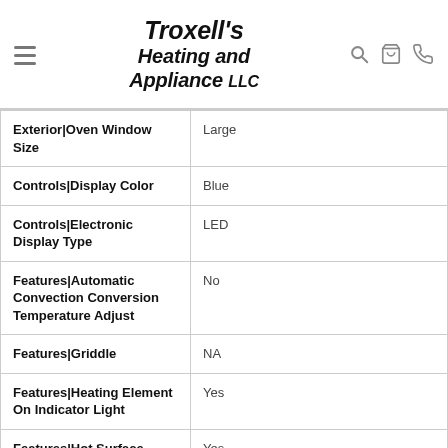Troxell's Heating and Appliance LLC
| Attribute | Value |
| --- | --- |
| Exterior|Oven Window Size | Large |
| Controls|Display Color | Blue |
| Controls|Electronic Display Type | LED |
| Features|Automatic Convection Conversion Temperature Adjust | No |
| Features|Griddle | NA |
| Features|Heating Element On Indicator Light | Yes |
| Features|Hot Surface | Yes |